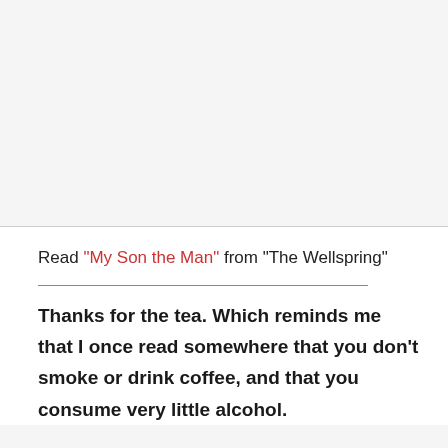Read "My Son the Man" from "The Wellspring"
Thanks for the tea. Which reminds me that I once read somewhere that you don't smoke or drink coffee, and that you consume very little alcohol.